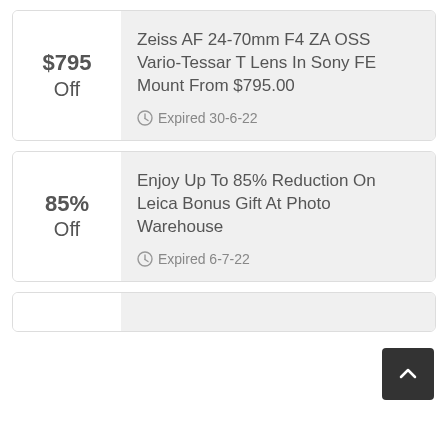$795 Off
Zeiss AF 24-70mm F4 ZA OSS Vario-Tessar T Lens In Sony FE Mount From $795.00
Expired 30-6-22
85% Off
Enjoy Up To 85% Reduction On Leica Bonus Gift At Photo Warehouse
Expired 6-7-22